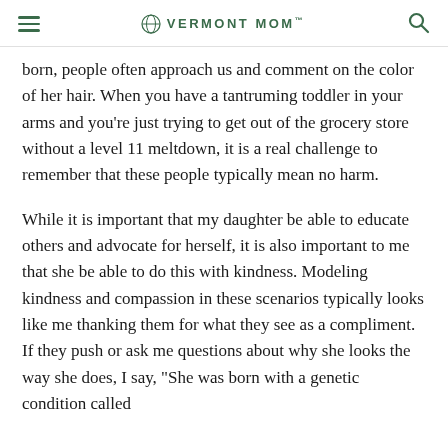VERMONT MOM
born, people often approach us and comment on the color of her hair. When you have a tantruming toddler in your arms and you're just trying to get out of the grocery store without a level 11 meltdown, it is a real challenge to remember that these people typically mean no harm.
While it is important that my daughter be able to educate others and advocate for herself, it is also important to me that she be able to do this with kindness. Modeling kindness and compassion in these scenarios typically looks like me thanking them for what they see as a compliment. If they push or ask me questions about why she looks the way she does, I say, "She was born with a genetic condition called